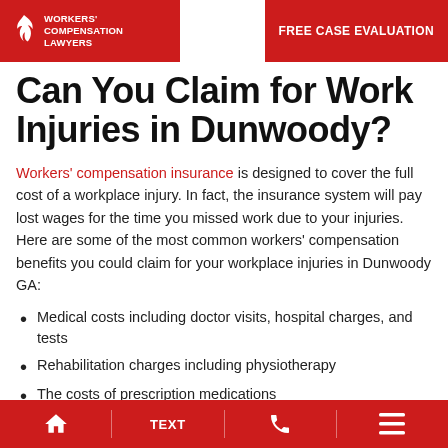WORKERS' COMPENSATION LAWYERS | FREE CASE EVALUATION
Can You Claim for Work Injuries in Dunwoody?
Workers' compensation insurance is designed to cover the full cost of a workplace injury. In fact, the insurance system will pay lost wages for the time you missed work due to your injuries. Here are some of the most common workers' compensation benefits you could claim for your workplace injuries in Dunwoody GA:
Medical costs including doctor visits, hospital charges, and tests
Rehabilitation charges including physiotherapy
The costs of prescription medications
Charges for vocational training – if required to get
🏠 TEXT 📞 ≡